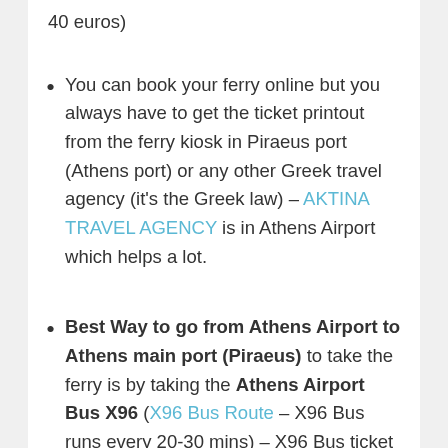40 euros)
You can book your ferry online but you always have to get the ticket printout from the ferry kiosk in Piraeus port (Athens port) or any other Greek travel agency (it's the Greek law) – AKTINA TRAVEL AGENCY is in Athens Airport which helps a lot.
Best Way to go from Athens Airport to Athens main port (Piraeus) to take the ferry is by taking the Athens Airport Bus X96 (X96 Bus Route – X96 Bus runs every 20-30 mins) – X96 Bus ticket costs 6 euros (adult) and 3 euros (kids).